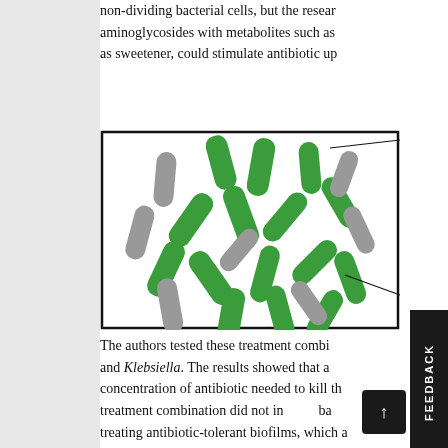non-dividing bacterial cells, but the researchers found that combining aminoglycosides with metabolites such as fructose, which is commonly used as sweetener, could stimulate antibiotic up...
[Figure (illustration): Diagram of bacterial cells: green rod-shaped bacteria (dividing/active) and grey rod-shaped bacteria (non-dividing/tolerant) scattered inside a square boundary representing a biofilm. Lines point from the cells to labels outside the box.]
The authors tested these treatment combinations on E. coli and Klebsiella. The results showed that adding fructose reduced the concentration of antibiotic needed to kill the bacteria. However, the treatment combination did not increase bacterial killing in biofilms, treating antibiotic-tolerant biofilms, which a...